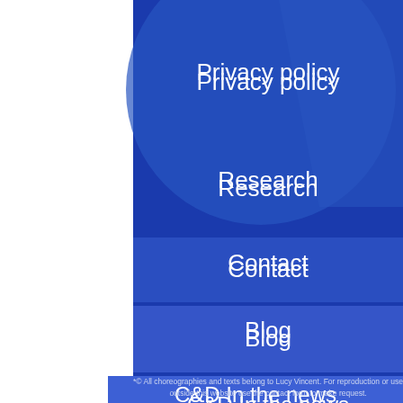Privacy policy
Research
Contact
Blog
C&D In the news
[Figure (logo): Brain illustration logo on white background]
*© All choreographies and texts belong to Lucy Vincent. For reproduction or use outside this website use the contact form to make request.